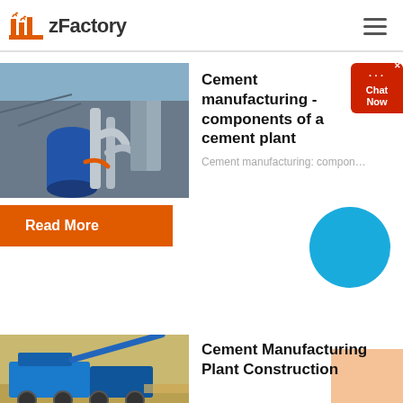zFactory
Cement manufacturing - components of a cement plant
Cement manufacturing: compon...
Read More
Cement Manufacturing Plant Construction